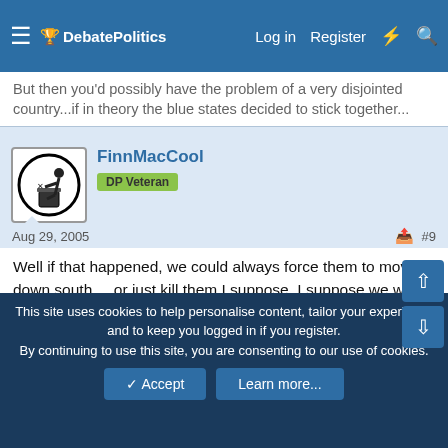DebatePolitics — Log in | Register
But then you'd possibly have the problem of a very disjointed country...if in theory the blue states decided to stick together...
FinnMacCool
DP Veteran
Aug 29, 2005  #9
Well if that happened, we could always force them to move down south. . .or just kill them I suppose. I suppose we would have to draw a boundary somewhere. ( By the way, none of the stuff I say on this thread is meant to be taken seriously)
Kelzie
The Almighty  DP Veteran
This site uses cookies to help personalise content, tailor your experience and to keep you logged in if you register.
By continuing to use this site, you are consenting to our use of cookies.